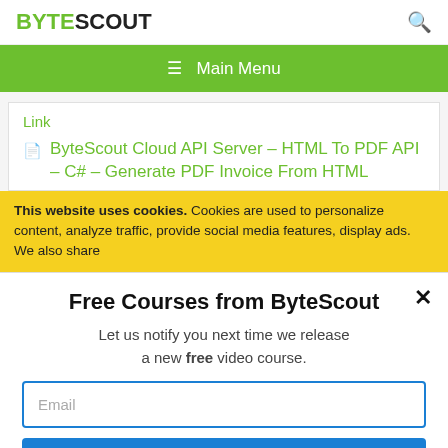BYTESCOUT
≡  Main Menu
Link
ByteScout Cloud API Server – HTML To PDF API – C# – Generate PDF Invoice From HTML
This website uses cookies. Cookies are used to personalize content, analyze traffic, provide social media features, display ads. We also share
Free Courses from ByteScout
Let us notify you next time we release a new free video course.
Email
SUBSCRIBE